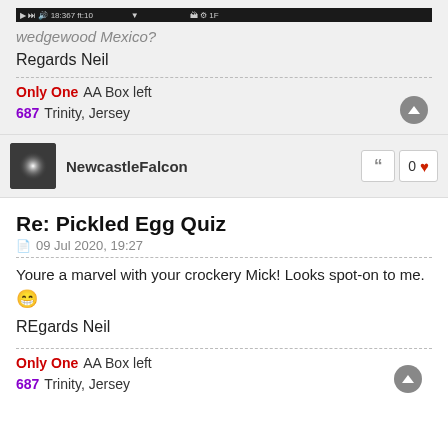[Figure (screenshot): Video player bar at top of page]
wedgewood Mexico?
Regards Neil
Only One AA Box left
687 Trinity, Jersey
[Figure (photo): User avatar for NewcastleFalcon - dark background with light flare]
NewcastleFalcon
0
Re: Pickled Egg Quiz
09 Jul 2020, 19:27
Youre a marvel with your crockery Mick! Looks spot-on to me. 😁
REgards Neil
Only One AA Box left
687 Trinity, Jersey